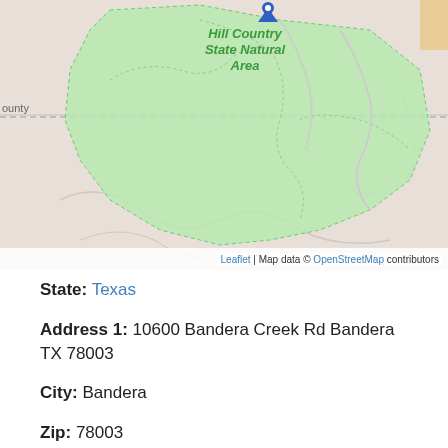[Figure (map): Map showing Hill Country State Natural Area near Bandera, TX with green shaded park area, dashed boundary lines, and a blue map pin marker. Map includes road/trail overlays on a beige background.]
Leaflet | Map data © OpenStreetMap contributors
State: Texas
Address 1: 10600 Bandera Creek Rd Bandera TX 78003
City: Bandera
Zip: 78003